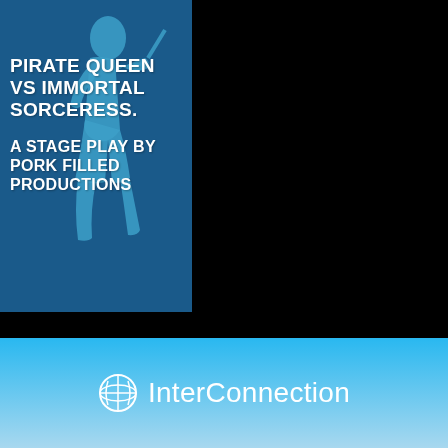[Figure (illustration): Stage play poster with blue background showing a silhouette of a figure. Text reads: PIRATE QUEEN VS IMMORTAL SORCERESS. A STAGE PLAY BY PORK FILLED PRODUCTIONS]
PIRATE QUEEN VS IMMORTAL SORCERESS.
A STAGE PLAY BY PORK FILLED PRODUCTIONS
[Figure (logo): InterConnection logo with globe/basketball icon on light blue background]